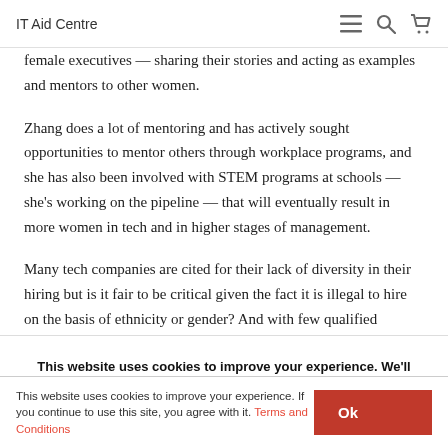IT Aid Centre
female executives — sharing their stories and acting as examples and mentors to other women.
Zhang does a lot of mentoring and has actively sought opportunities to mentor others through workplace programs, and she has also been involved with STEM programs at schools — she's working on the pipeline — that will eventually result in more women in tech and in higher stages of management.
Many tech companies are cited for their lack of diversity in their hiring but is it fair to be critical given the fact it is illegal to hire on the basis of ethnicity or gender? And with few qualified women
This website uses cookies to improve your experience. We'll assume you're ok with this, but you can opt-out if you wish.
This website uses cookies to improve your experience. If you continue to use this site, you agree with it. Terms and Conditions